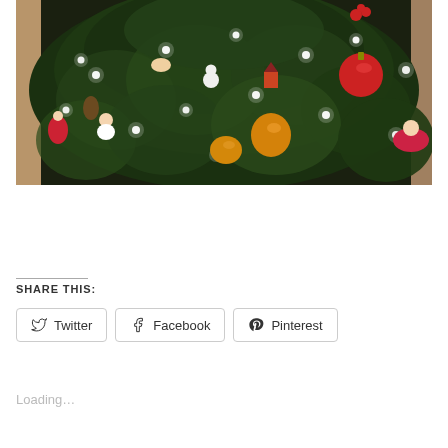[Figure (photo): Close-up photograph of a decorated Christmas tree with green branches, white LED fairy lights, and various colorful ornaments including red baubles, angel figures, a snowman, a rocking horse, a gingerbread man, and other festive decorations. Background shows curtains in warm brown tones.]
SHARE THIS:
Twitter  Facebook  Pinterest
Loading...